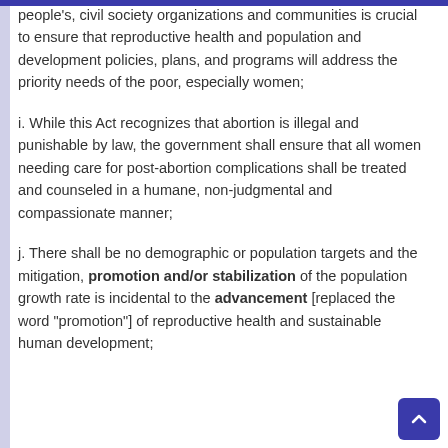people's, civil society organizations and communities is crucial to ensure that reproductive health and population and development policies, plans, and programs will address the priority needs of the poor, especially women;
i. While this Act recognizes that abortion is illegal and punishable by law, the government shall ensure that all women needing care for post-abortion complications shall be treated and counseled in a humane, non-judgmental and compassionate manner;
j. There shall be no demographic or population targets and the mitigation, promotion and/or stabilization of the population growth rate is incidental to the advancement [replaced the word "promotion"] of reproductive health and sustainable human development;